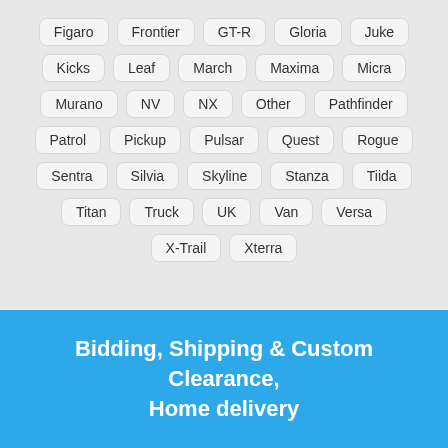Figaro, Frontier, GT-R, Gloria, Juke, Kicks, Leaf, March, Maxima, Micra, Murano, NV, NX, Other, Pathfinder, Patrol, Pickup, Pulsar, Quest, Rogue, Sentra, Silvia, Skyline, Stanza, Tiida, Titan, Truck, UK, Van, Versa, X-Trail, Xterra
Bidding, Shipping & Custom Clearance, Home delivery